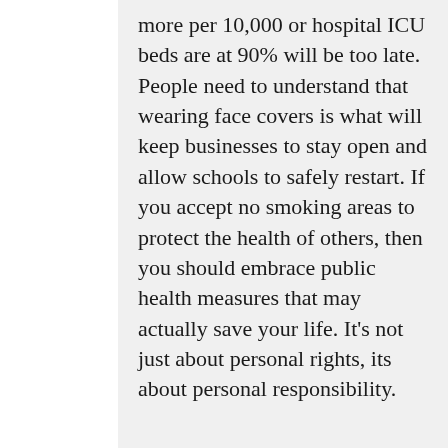more per 10,000 or hospital ICU beds are at 90% will be too late. People need to understand that wearing face covers is what will keep businesses to stay open and allow schools to safely restart. If you accept no smoking areas to protect the health of others, then you should embrace public health measures that may actually save your life. It's not just about personal rights, its about personal responsibility.